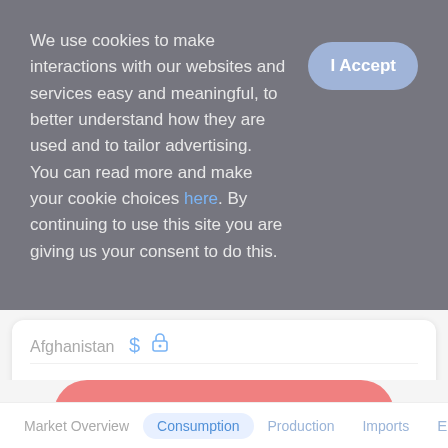We use cookies to make interactions with our websites and services easy and meaningful, to better understand how they are used and to tailor advertising. You can read more and make your cookie choices here. By continuing to use this site you are giving us your consent to do this.
Afghanistan
Bangladesh $
India $
Sign Up & Unlock
Market Overview  Consumption  Production  Imports  E